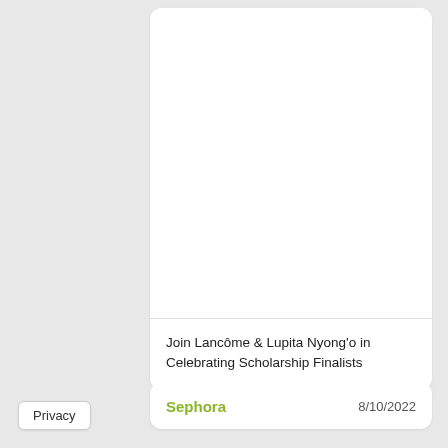[Figure (photo): White rectangular image area (photo placeholder) at top of card]
Join Lancôme & Lupita Nyong'o in Celebrating Scholarship Finalists
Sephora
8/10/2022
Privacy